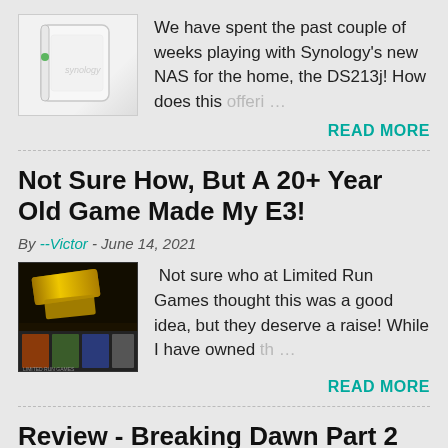[Figure (photo): Synology NAS device (DS213j), white box-shaped unit with green LED indicator]
We have spent the past couple of weeks playing with Synology's new NAS for the home, the DS213j! How does this offeri…
READ MORE
Not Sure How, But A 20+ Year Old Game Made My E3!
By --Victor - June 14, 2021
[Figure (photo): Dark promotional image with golden cartridge and game cover thumbnails for a retro game collection]
Not sure who at Limited Run Games thought this was a good idea, but they deserve a raise! While I have owned th…
READ MORE
Review - Breaking Dawn Part 2